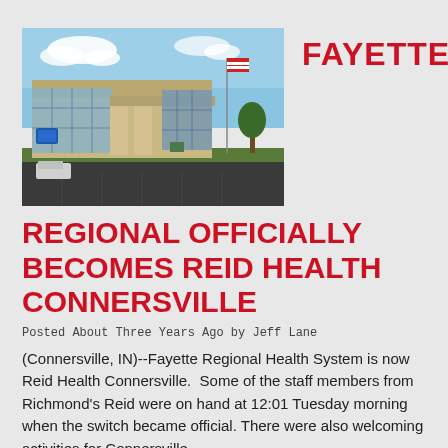[Figure (photo): Photo of a hospital building exterior (Fayette Regional Health System / Reid Health Connersville) with a blue sky background, modern facade with stone and glass elements, parking area in front, and an American flag visible.]
FAYETTE
REGIONAL OFFICIALLY BECOMES REID HEALTH CONNERSVILLE
Posted About Three Years Ago by Jeff Lane
(Connersville, IN)--Fayette Regional Health System is now Reid Health Connersville.  Some of the staff members from Richmond's Reid were on hand at 12:01 Tuesday morning when the switch became official. There were also welcoming activities for Connersville